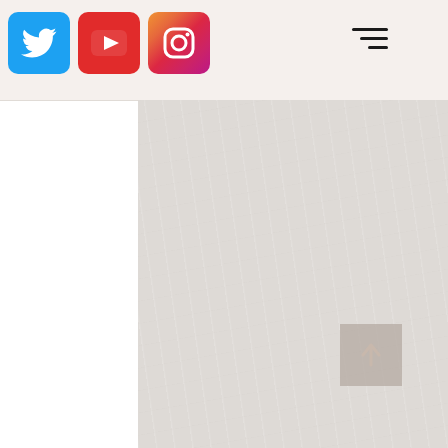[Figure (screenshot): Website navigation header with Twitter, YouTube, and Instagram social media icon buttons on the left, and a hamburger menu icon on the right, over a textured light gray/beige background. A back-to-top arrow button is visible in the lower right area.]